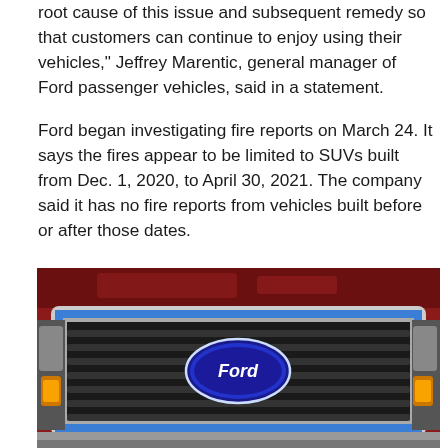root cause of this issue and subsequent remedy so that customers can continue to enjoy using their vehicles," Jeffrey Marentic, general manager of Ford passenger vehicles, said in a statement.
Ford began investigating fire reports on March 24. It says the fires appear to be limited to SUVs built from Dec. 1, 2020, to April 30, 2021. The company said it has no fire reports from vehicles built before or after those dates.
[Figure (photo): Close-up photo of a red Ford truck front grille with chrome trim, blue oval Ford logo in center, and amber turn signal lights visible on the sides.]